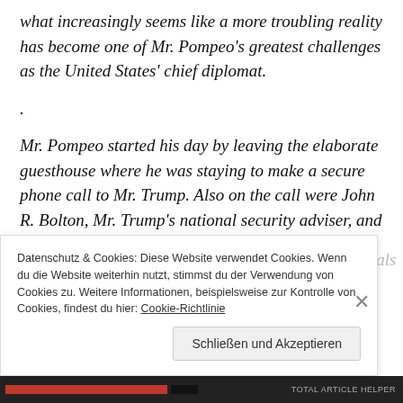what increasingly seems like a more troubling reality has become one of Mr. Pompeo’s greatest challenges as the United States’ chief diplomat.
.
Mr. Pompeo started his day by leaving the elaborate guesthouse where he was staying to make a secure phone call to Mr. Trump. Also on the call were John R. Bolton, Mr. Trump’s national security adviser, and John Kelly,
Datenschutz & Cookies: Diese Website verwendet Cookies. Wenn du die Website weiterhin nutzt, stimmst du der Verwendung von Cookies zu. Weitere Informationen, beispielsweise zur Kontrolle von Cookies, findest du hier: Cookie-Richtlinie
Schließen und Akzeptieren